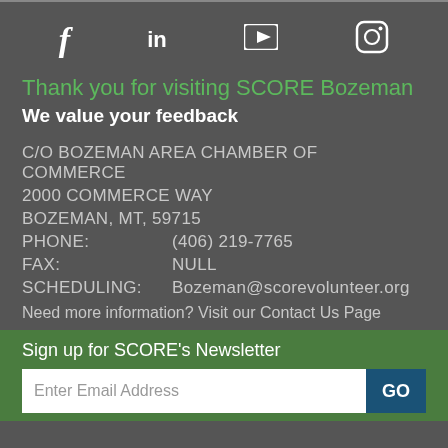[Figure (infographic): Social media icons row: Facebook (f), LinkedIn (in), YouTube (play button triangle), Instagram (camera icon)]
Thank you for visiting SCORE Bozeman
We value your feedback
C/O BOZEMAN AREA CHAMBER OF COMMERCE
2000 COMMERCE WAY
BOZEMAN, MT, 59715
PHONE:      (406) 219-7765
FAX:        NULL
SCHEDULING: Bozeman@scorevolunteer.org
Need more information? Visit our Contact Us Page
Sign up for SCORE's Newsletter
Enter Email Address